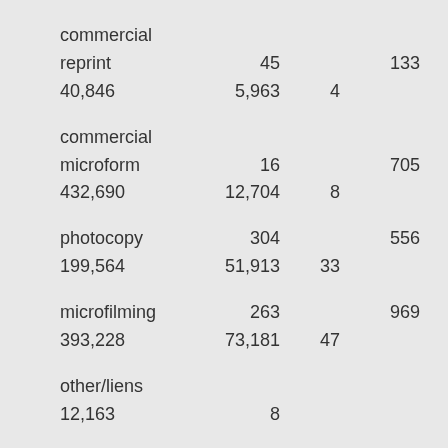| commercial reprint | 45 | 133 |  |
| 40,846 | 5,963 | 4 |  |
| commercial microform | 16 | 705 |  |
| 432,690 | 12,704 | 8 |  |
| photocopy | 304 | 556 |  |
| 199,564 | 51,913 | 33 |  |
| microfilming | 263 | 969 |  |
| 393,228 | 73,181 | 47 |  |
| other/liens |  |  |  |
| 12,163 | 8 |  |  |
| Total | 628 | 2,991 |  |
| 1,066,328 | 155,924 | 100 |  |